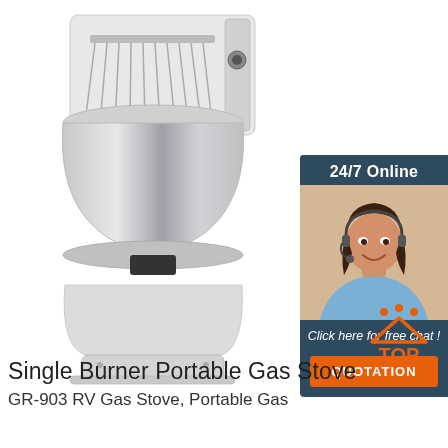[Figure (photo): Commercial spiral dough mixer with stainless steel bowl and white body on white background]
[Figure (infographic): 24/7 Online chat widget with dark blue background, photo of female customer service representative with headset, 'Click here for free chat!' text, and orange QUOTATION button]
[Figure (logo): TOP logo with orange triangle/house icon with dots above text 'TOP' in orange]
Single Burner Portable Gas Stove
GR-903 RV Gas Stove, Portable Gas